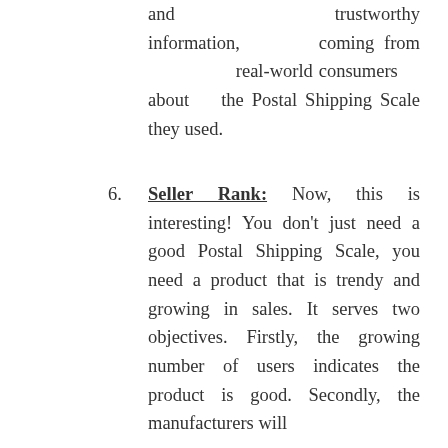and trustworthy information, coming from real-world consumers about the Postal Shipping Scale they used.
Seller Rank: Now, this is interesting! You don't just need a good Postal Shipping Scale, you need a product that is trendy and growing in sales. It serves two objectives. Firstly, the growing number of users indicates the product is good. Secondly, the manufacturers will